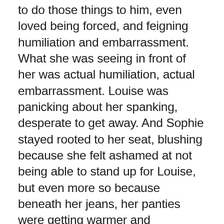to do those things to him, even loved being forced, and feigning humiliation and embarrassment. What she was seeing in front of her was actual humiliation, actual embarrassment. Louise was panicking about her spanking, desperate to get away. And Sophie stayed rooted to her seat, blushing because she felt ashamed at not being able to stand up for Louise, but even more so because beneath her jeans, her panties were getting warmer and stickier.Louise continued to sob over Betty's lap. Betty had placed her hand on Louise's bottom, as if ready to strike at any time. Wendy and Taylor were besides themselves with laughter at his girl making such a display, without even having been spanked once yet. 'Listen' said Betty sharply. 'I'm not going to start this spanking until you stop that crying. Do you hear me?'Please… please don't spank me' blubbered Louise, although she was starting to calm down.'Nonsense' said Betty, in a strict tone. 'You're getting a spanking and that's grandbetting güvenilirmi all there is to